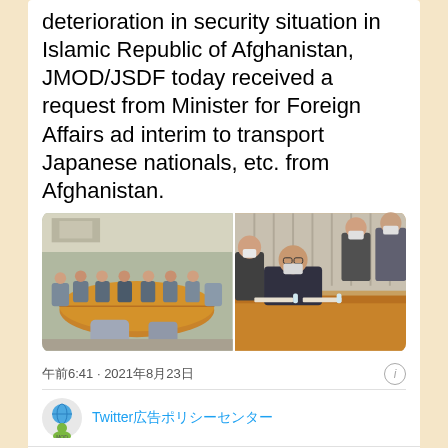deterioration in security situation in Islamic Republic of Afghanistan, JMOD/JSDF today received a request from Minister for Foreign Affairs ad interim to transport Japanese nationals, etc. from Afghanistan.
[Figure (photo): Two side-by-side photos of a government meeting room. Left: wide shot of people seated around a large conference table. Right: closer shot of officials seated at a table, wearing masks, with orange wood paneling background.]
午前6:41 · 2021年8月23日
Twitterウェブアプリ
558  返信  コピーリンクをシェア